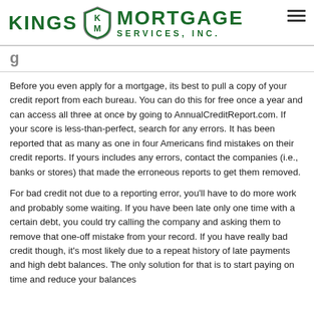Kings Mortgage Services, Inc.
Before you even apply for a mortgage, its best to pull a copy of your credit report from each bureau. You can do this for free once a year and can access all three at once by going to AnnualCreditReport.com. If your score is less-than-perfect, search for any errors. It has been reported that as many as one in four Americans find mistakes on their credit reports. If yours includes any errors, contact the companies (i.e., banks or stores) that made the erroneous reports to get them removed.
For bad credit not due to a reporting error, you'll have to do more work and probably some waiting. If you have been late only one time with a certain debt, you could try calling the company and asking them to remove that one-off mistake from your record. If you have really bad credit though, it's most likely due to a repeat history of late payments and high debt balances. The only solution for that is to start paying on time and reduce your balances